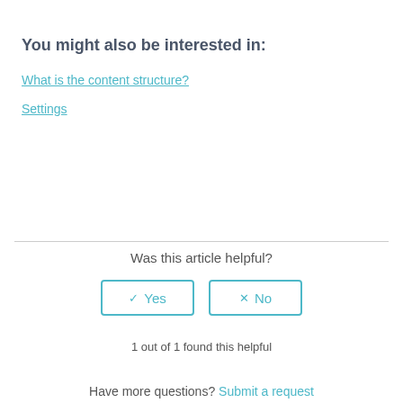You might also be interested in:
What is the content structure?
Settings
Was this article helpful?
1 out of 1 found this helpful
Have more questions? Submit a request